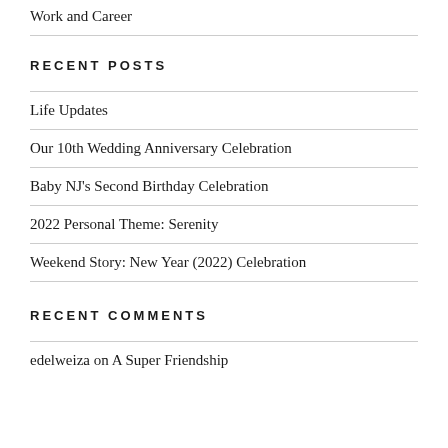Work and Career
RECENT POSTS
Life Updates
Our 10th Wedding Anniversary Celebration
Baby NJ's Second Birthday Celebration
2022 Personal Theme: Serenity
Weekend Story: New Year (2022) Celebration
RECENT COMMENTS
edelweiza on A Super Friendship